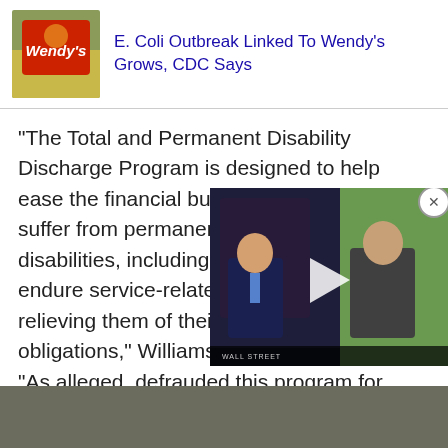[Figure (screenshot): Wendy's logo image thumbnail (red background with Wendy's branding)]
E. Coli Outbreak Linked To Wendy’s Grows, CDC Says
“The Total and Permanent Disability Discharge Program is designed to help ease the financial burden of those who suffer from permanent physical or mental disabilities, including military veterans who endure service-related disabilities, by relieving them of their student loan obligations,” Williams said in a statement. “As alleged, defrauded this program for
[Figure (screenshot): Embedded video player showing two news anchors on a TV set with a Wall Street chyron at the bottom, with a play button overlay]